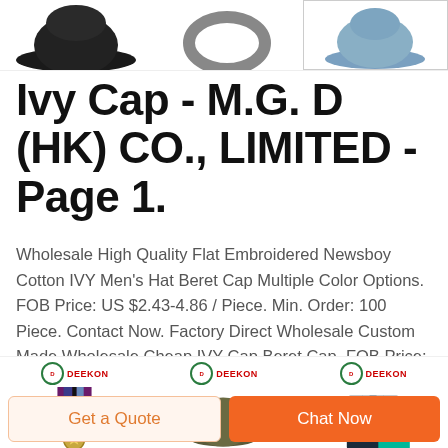[Figure (photo): Three product hat images cropped at the top of the page — a black cap, a grey ring/cap shape, and a blue/grey cap]
Ivy Cap - M.G. D (HK) CO., LIMITED - Page 1.
Wholesale High Quality Flat Embroidered Newsboy Cotton IVY Men's Hat Beret Cap Multiple Color Options. FOB Price: US $2.43-4.86 / Piece. Min. Order: 100 Piece. Contact Now. Factory Direct Wholesale Custom Made Wholesale Cheap IVY Cap Beret Cap. FOB Price: US $2.08-4.58 / Piece. Min. Order: 100 Piece. Contact Now.
[Figure (photo): Three product images with DEEKON branding — a military medal ribbon, an olive beret with red band, and a navy polo/shirt with a green button overlay]
Get a Quote
Chat Now